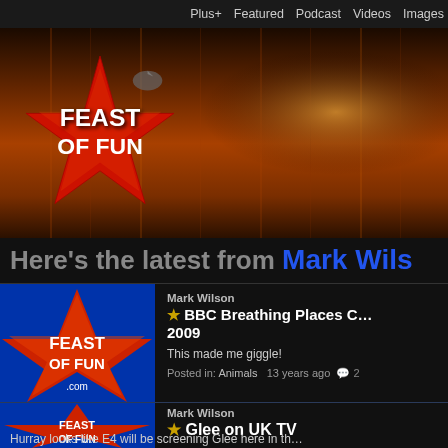Plus+  Featured  Podcast  Videos  Images
[Figure (logo): Feast of Fun website hero banner with logo featuring a red star shape, cardinal bird, and glowing warm orange/red background with vertical light streaks]
Here's the latest from Mark Wils…
[Figure (logo): Feast of Fun .com logo thumbnail]
Mark Wilson
★ BBC Breathing Places C… 2009
This made me giggle!
Posted in: Animals   13 years ago  💬 2
[Figure (logo): Feast of Fun .com logo thumbnail]
Mark Wilson
★ Glee on UK TV
Hurray looks like E4 will be screening Glee here in th…